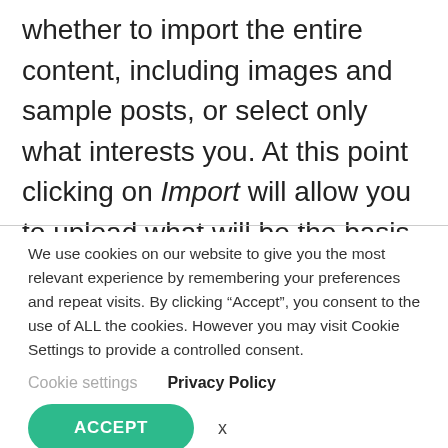whether to import the entire content, including images and sample posts, or select only what interests you. At this point clicking on Import will allow you to upload what will be the basis of your website.
We use cookies on our website to give you the most relevant experience by remembering your preferences and repeat visits. By clicking “Accept”, you consent to the use of ALL the cookies. However you may visit Cookie Settings to provide a controlled consent.
Cookie settings    Privacy Policy
ACCEPT    x